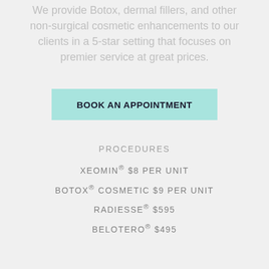We provide Botox, dermal fillers, and other non-surgical cosmetic enhancements to our clients in a 5-star setting that focuses on premier service at great prices.
BOOK AN APPOINTMENT
PROCEDURES
XEOMIN® $8 PER UNIT
BOTOX® COSMETIC $9 PER UNIT
RADIESSE® $595
BELOTERO® $495